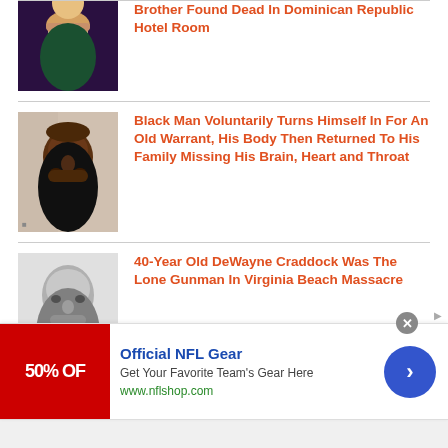[Figure (photo): Thumbnail photo of a blonde woman against a dark purple background]
Brother Found Dead In Dominican Republic Hotel Room
[Figure (photo): Thumbnail photo of a Black man with a beard]
Black Man Voluntarily Turns Himself In For An Old Warrant, His Body Then Returned To His Family Missing His Brain, Heart and Throat
[Figure (photo): Black and white thumbnail photo of a man]
40-Year Old DeWayne Craddock Was The Lone Gunman In Virginia Beach Massacre
[Figure (photo): Thumbnail showing Facebook logo on dark blue background, partially cut off]
Why Is Facebook Banning Positive Posts From Black People And Allowing
[Figure (other): Advertisement banner for Official NFL Gear showing 50% OFF, with blue circular arrow button]
Official NFL Gear
Get Your Favorite Team's Gear Here
www.nflshop.com